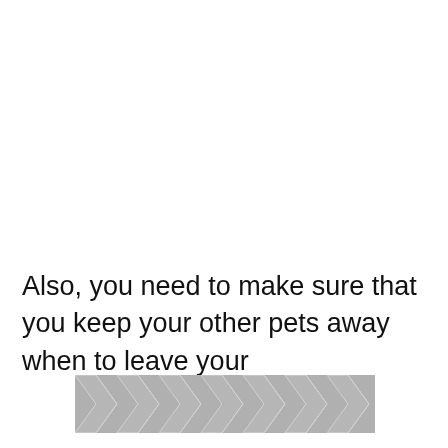Also, you need to make sure that you keep your other pets away when to leave your
[Figure (illustration): A decorative geometric hexagonal/chevron pattern in grey and white, arranged in a horizontal band.]